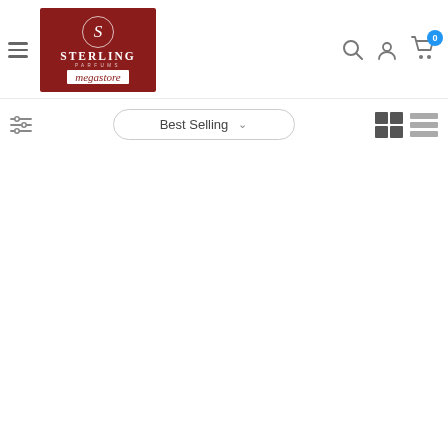[Figure (logo): Sterling Parfums Megastore logo — dark red background with S monogram circle, STERLING text, PARFUMS in small caps, and megastore in white italic box]
[Figure (screenshot): E-commerce navigation bar with hamburger menu, Sterling Parfums Megastore logo, search icon, account icon, and cart icon with badge showing 0]
[Figure (screenshot): Product listing toolbar with filter sliders icon on left, Best Selling sort dropdown in center, grid and list view toggle icons on right]